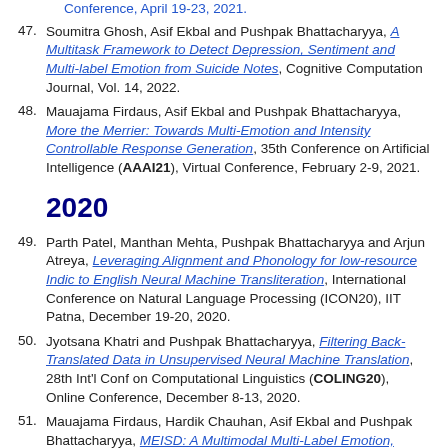Conference, April 19-23, 2021.
47. Soumitra Ghosh, Asif Ekbal and Pushpak Bhattacharyya, A Multitask Framework to Detect Depression, Sentiment and Multi-label Emotion from Suicide Notes, Cognitive Computation Journal, Vol. 14, 2022.
48. Mauajama Firdaus, Asif Ekbal and Pushpak Bhattacharyya, More the Merrier: Towards Multi-Emotion and Intensity Controllable Response Generation, 35th Conference on Artificial Intelligence (AAAI21), Virtual Conference, February 2-9, 2021.
2020
49. Parth Patel, Manthan Mehta, Pushpak Bhattacharyya and Arjun Atreya, Leveraging Alignment and Phonology for low-resource Indic to English Neural Machine Transliteration, International Conference on Natural Language Processing (ICON20), IIT Patna, December 19-20, 2020.
50. Jyotsana Khatri and Pushpak Bhattacharyya, Filtering Back-Translated Data in Unsupervised Neural Machine Translation, 28th Int'l Conf on Computational Linguistics (COLING20), Online Conference, December 8-13, 2020.
51. Mauajama Firdaus, Hardik Chauhan, Asif Ekbal and Pushpak Bhattacharyya, MEISD: A Multimodal Multi-Label Emotion, Intensity and Sentiment Dialogue Dataset for